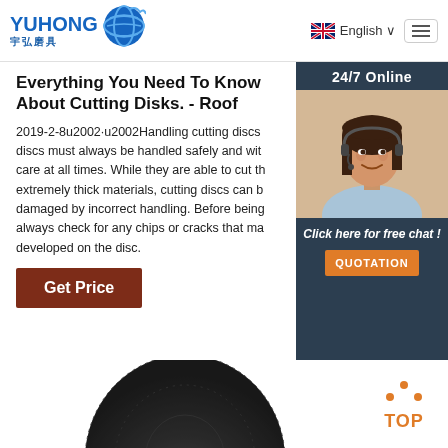YUHONG 宇弘磨具 | English | menu
Everything You Need To Know About Cutting Disks. - Roof
2019-2-8u2002·u2002Handling cutting discs discs must always be handled safely and wit care at all times. While they are able to cut th extremely thick materials, cutting discs can b damaged by incorrect handling. Before being always check for any chips or cracks that ma developed on the disc.
24/7 Online
[Figure (photo): Customer support agent woman with headset smiling]
Click here for free chat !
QUOTATION
Get Price
[Figure (photo): Dark grey abrasive cutting disc, top half visible]
[Figure (other): TOP button with orange dots arranged in triangle above orange TOP text]